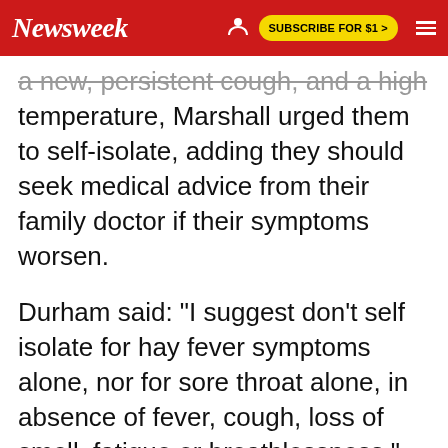Newsweek | SUBSCRIBE FOR $1 >
a new, persistent cough, and a high temperature, Marshall urged them to self-isolate, adding they should seek medical advice from their family doctor if their symptoms worsen.
Durham said: "I suggest don't self isolate for hay fever symptoms alone, nor for sore throat alone, in absence of fever, cough, loss of smell, fatigue or breathlessness."